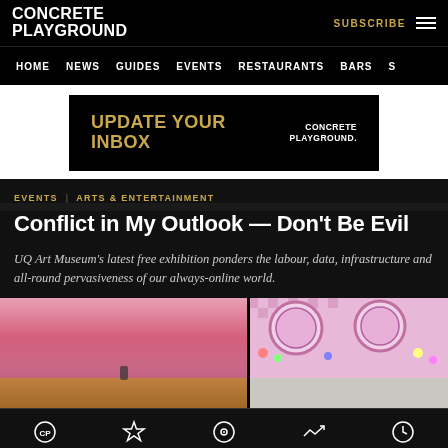CONCRETE PLAYGROUND
HOME  NEWS  GUIDES  EVENTS  RESTAURANTS  BARS  S
[Figure (infographic): Black advertisement banner reading UPDATE YOUR INBOX with Concrete Playground logo]
EVENTS  ARTS & ENTERTAINMENT
Conflict in My Outlook — Don't Be Evil
UQ Art Museum's latest free exhibition ponders the labour, data, infrastructure and all-round pervasiveness of our always-online world.
[Figure (photo): Gallery interior with pink wall on left side and colorful patterned artwork panels with circular medallions on right side, wooden floor visible]
Home  Featured  Nearby  Popular  Latest